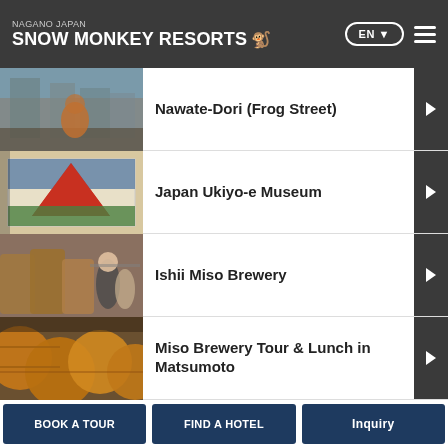NAGANO JAPAN SNOW MONKEY RESORTS
Nawate-Dori (Frog Street)
Japan Ukiyo-e Museum
Ishii Miso Brewery
Miso Brewery Tour & Lunch in Matsumoto
Private Walking Tour in Matsumoto
BOOK A TOUR | FIND A HOTEL | Inquiry